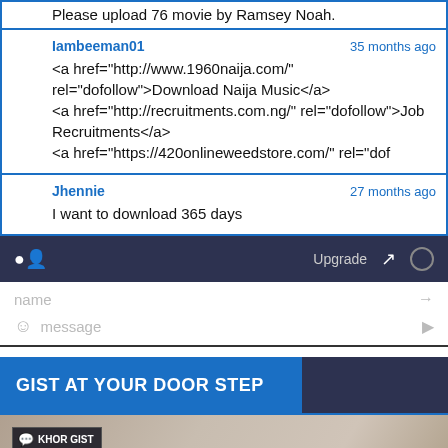Please upload 76 movie by Ramsey Noah.
Iambeeman01 — 35 months ago
<a href="http://www.1960naija.com/" rel="dofollow">Download Naija Music</a>
<a href="http://recruitments.com.ng/" rel="dofollow">Job Recruitments</a>
<a href="https://420onlineweedstore.com/" rel="dof
Jhennie — 27 months ago
I want to download 365 days
Upgrade
name
message
GIST AT YOUR DOOR STEP
[Figure (screenshot): Blurred promotional image with KHOR GIST logo, Chat With Us button, and a blue corner button with hand/cursor icon]